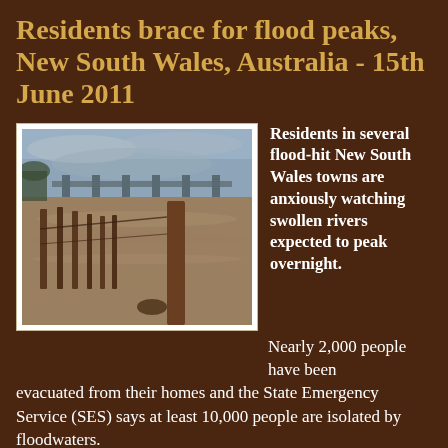Residents brace for flood peaks, New South Wales, Australia - 15th June 2011
[Figure (photo): Flood photo showing swollen river with wooden fence posts submerged in brown floodwater, a bridge visible in the background under overcast sky, New South Wales Australia 2011]
Residents in several flood-hit New South Wales towns are anxiously watching swollen rivers expected to peak overnight.
Nearly 2,000 people have been evacuated from their homes and the State Emergency Service (SES) says at least 10,000 people are isolated by floodwaters.
The State Government says the floods have caused millions of dollars worth of damage already, and it has declared